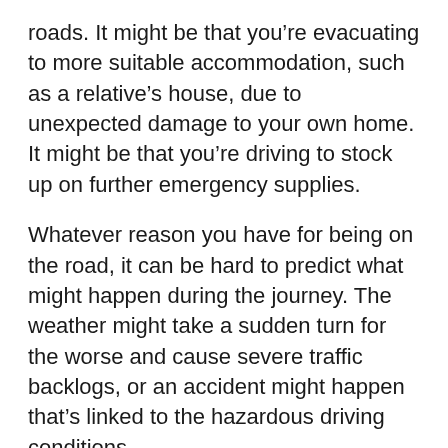roads. It might be that you're evacuating to more suitable accommodation, such as a relative's house, due to unexpected damage to your own home. It might be that you're driving to stock up on further emergency supplies.
Whatever reason you have for being on the road, it can be hard to predict what might happen during the journey. The weather might take a sudden turn for the worse and cause severe traffic backlogs, or an accident might happen that's linked to the hazardous driving conditions.
This is why it's so important to ensure you're also prepared during the times where you're on the move. You can't be sure if you'll be waylaid, nor how long you'll be waylaid for.
Consider putting together a winter car kit to keep in the boot of your car. In this, you'll keep a range of